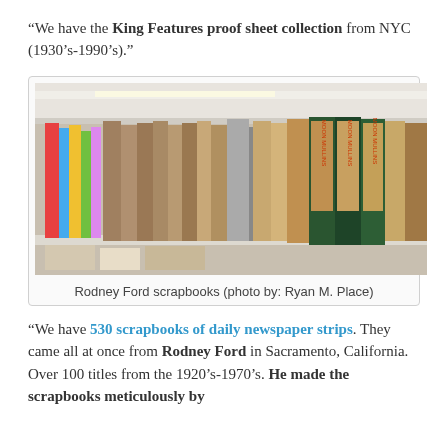“We have the King Features proof sheet collection from NYC (1930’s-1990’s).”
[Figure (photo): Shelves of binders and scrapbooks, including several labeled with comic strip titles, photographed in a library or archive setting.]
Rodney Ford scrapbooks (photo by: Ryan M. Place)
“We have 530 scrapbooks of daily newspaper strips. They came all at once from Rodney Ford in Sacramento, California. Over 100 titles from the 1920’s-1970’s. He made the scrapbooks meticulously by